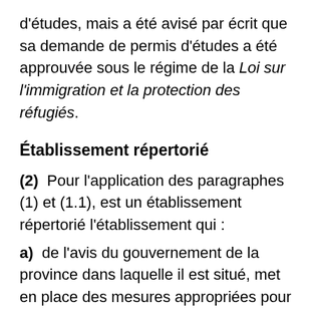d'études, mais a été avisé par écrit que sa demande de permis d'études a été approuvée sous le régime de la Loi sur l'immigration et la protection des réfugiés.
Établissement répertorié
(2)  Pour l'application des paragraphes (1) et (1.1), est un établissement répertorié l'établissement qui :
a)  de l'avis du gouvernement de la province dans laquelle il est situé, met en place des mesures appropriées pour que